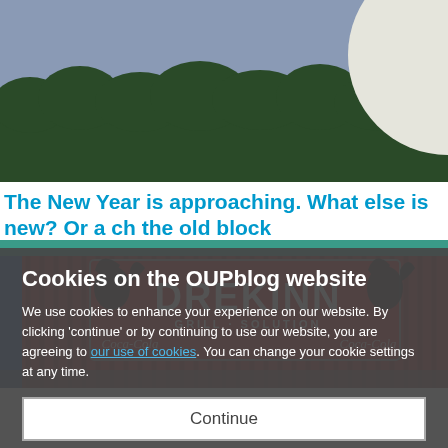[Figure (photo): Photograph of a large full moon rising above dark green tree line against a blue-grey sky]
The New Year is approaching. What else is new? Or a ch the old block
[Figure (photo): Photograph of a red building exterior with a large sign reading DREKINN GRILL SOLUTION and Coca-Cola logos on either side, with black dragon/creature silhouettes on the sign]
Cookies on the OUPblog website
We use cookies to enhance your experience on our website. By clicking 'continue' or by continuing to use our website, you are agreeing to our use of cookies. You can change your cookie settings at any time.
Continue